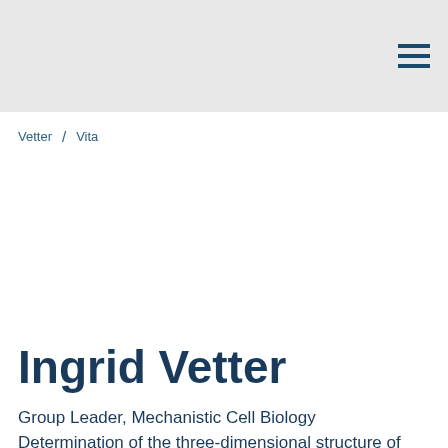Vetter / Vita
Ingrid Vetter
Group Leader, Mechanistic Cell Biology
Determination of the three-dimensional structure of proteins